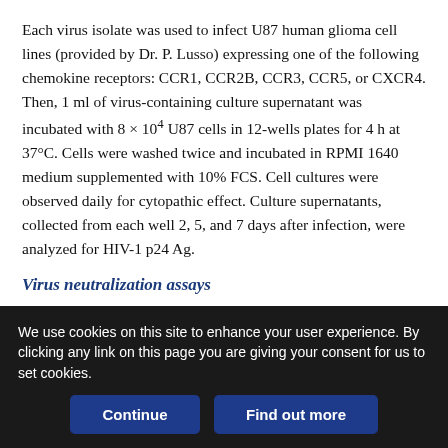Each virus isolate was used to infect U87 human glioma cell lines (provided by Dr. P. Lusso) expressing one of the following chemokine receptors: CCR1, CCR2B, CCR3, CCR5, or CXCR4. Then, 1 ml of virus-containing culture supernatant was incubated with 8 × 10⁴ U87 cells in 12-wells plates for 4 h at 37°C. Cells were washed twice and incubated in RPMI 1640 medium supplemented with 10% FCS. Cell cultures were observed daily for cytopathic effect. Culture supernatants, collected from each well 2, 5, and 7 days after infection, were analyzed for HIV-1 p24 Ag.
Virus neutralization assays
The “resting cell assay” was performed according to Zolla-Pazner
We use cookies on this site to enhance your user experience. By clicking any link on this page you are giving your consent for us to set cookies.